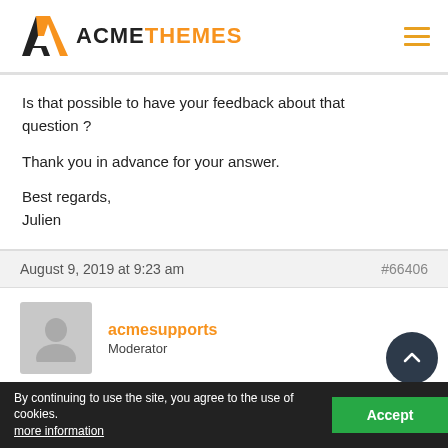ACMETHEMES
Is that possible to have your feedback about that question ?

Thank you in advance for your answer.

Best regards,
Julien
August 9, 2019 at 9:23 am   #66406
acmesupports
Moderator
Dear Julien,
By Default, Slider is in loaded footer section of the theme. So, that slider appears when js is fully loaded.
By continuing to use the site, you agree to the use of cookies. more information   Accept